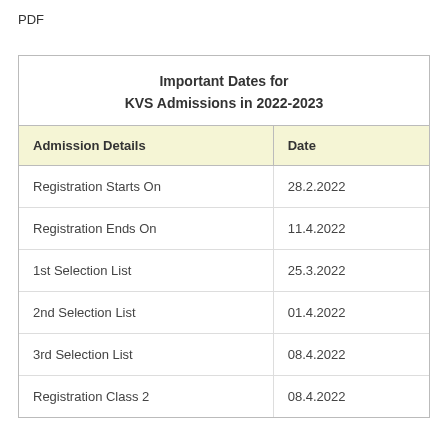PDF
| Admission Details | Date |
| --- | --- |
| Registration Starts On | 28.2.2022 |
| Registration Ends On | 11.4.2022 |
| 1st Selection List | 25.3.2022 |
| 2nd Selection List | 01.4.2022 |
| 3rd Selection List | 08.4.2022 |
| Registration Class 2 | 08.4.2022 |